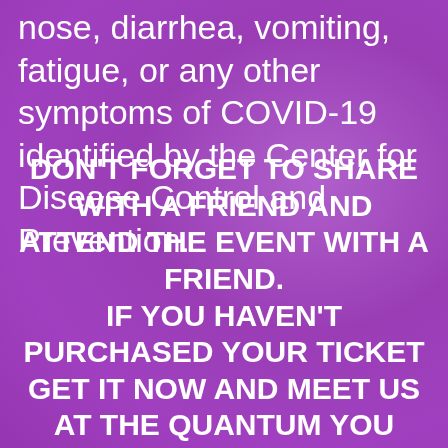nose, diarrhea, vomiting, fatigue, or any other symptoms of COVID-19 identified by the Center for Disease Control and Prevention.
DON'T FORGET TO SHARE WITH A FRIEND AND ATTEND THE EVENT WITH A FRIEND. IF YOU HAVEN'T PURCHASED YOUR TICKET GET IT NOW AND MEET US AT THE QUANTUM YOU